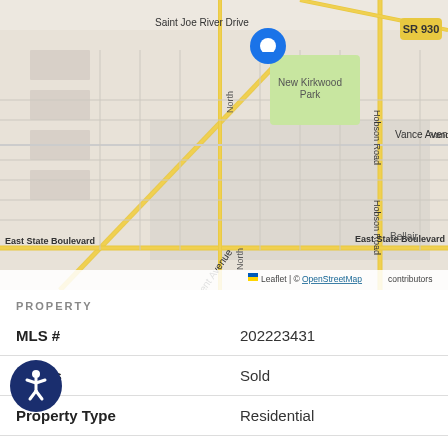[Figure (map): Street map showing location near Saint Joe River Drive, Crescent Avenue, East State Boulevard, Vance Avenue, Hobson Road, SR 930, and New Kirkwood Park area in Fort Wayne, Indiana. Blue pin marker indicates property location. Map from OpenStreetMap via Leaflet.]
PROPERTY
| MLS # | 202223431 |
| Status | Sold |
| Property Type | Residential |
| Property SubType | Site-Built Home |
| Square Feet | 2175 Sq Ft |
| Construction | No |
| Style | Two Story |